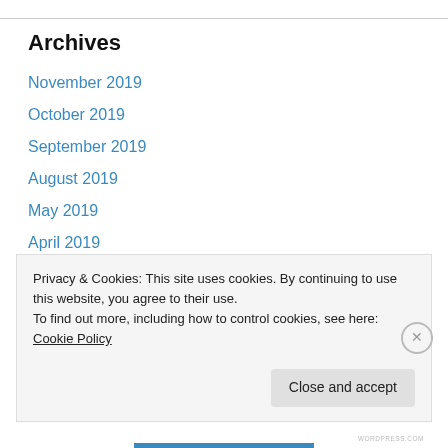Archives
November 2019
October 2019
September 2019
August 2019
May 2019
April 2019
March 2019
February 2019
January 2019
September 2018
Privacy & Cookies: This site uses cookies. By continuing to use this website, you agree to their use.
To find out more, including how to control cookies, see here: Cookie Policy